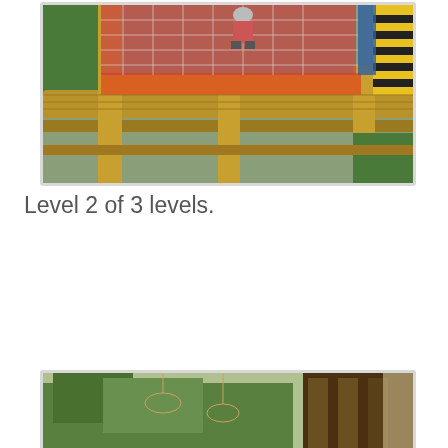[Figure (photo): Outdoor playground structure with bamboo/wooden poles, colorful netting (green, red, orange, blue, yellow), and a child visible at the top. Photo is framed with a light gray border.]
Level 2 of 3 levels.
[Figure (photo): Outdoor adventure park or ropes course scene showing trees, hanging rope rings, and a wooden structure on the right side. Partially visible at bottom of page.]